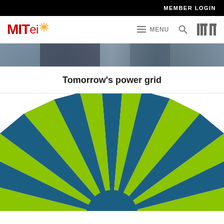MEMBER LOGIN
[Figure (logo): MITei logo with red MIT text and stylized spark/starburst icon, navigation bar with MENU, search, and MIT logo]
[Figure (photo): Partial photo of people, appears to be upper portion cropped]
Tomorrow's power grid
[Figure (illustration): Radiating starburst pattern with alternating dark blue and lime green rays emanating from a central dark blue circle, filling the lower portion of the page]